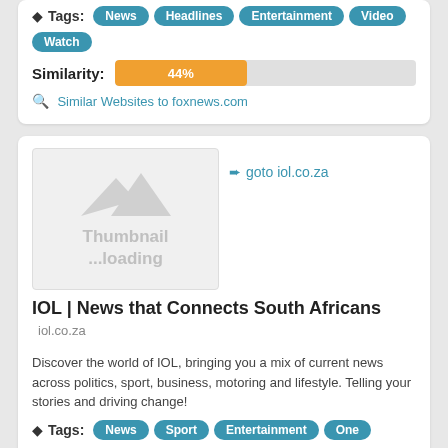Tags: News Headlines Entertainment Video Watch
Similarity: 44%
Similar Websites to foxnews.com
[Figure (screenshot): Thumbnail loading placeholder with mountain icon for iol.co.za]
goto iol.co.za
IOL | News that Connects South Africans iol.co.za
Discover the world of IOL, bringing you a mix of current news across politics, sport, business, motoring and lifestyle. Telling your stories and driving change!
Tags: News Sport Entertainment One
Similarity: 42%